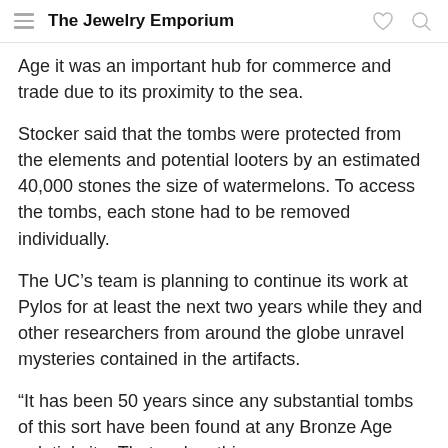The Jewelry Emporium
Age it was an important hub for commerce and trade due to its proximity to the sea.
Stocker said that the tombs were protected from the elements and potential looters by an estimated 40,000 stones the size of watermelons. To access the tombs, each stone had to be removed individually.
The UC's team is planning to continue its work at Pylos for at least the next two years while they and other researchers from around the globe unravel mysteries contained in the artifacts.
“It has been 50 years since any substantial tombs of this sort have been found at any Bronze Age palatial site. That makes this